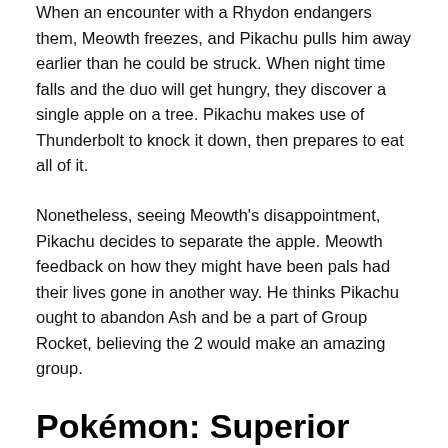When an encounter with a Rhydon endangers them, Meowth freezes, and Pikachu pulls him away earlier than he could be struck. When night time falls and the duo will get hungry, they discover a single apple on a tree. Pikachu makes use of Thunderbolt to knock it down, then prepares to eat all of it.
Nonetheless, seeing Meowth's disappointment, Pikachu decides to separate the apple. Meowth feedback on how they might have been pals had their lives gone in another way. He thinks Pikachu ought to abandon Ash and be a part of Group Rocket, believing the 2 would make an amazing group.
Pokémon: Superior Problem: A Scare To Keep in mind – Episode 98